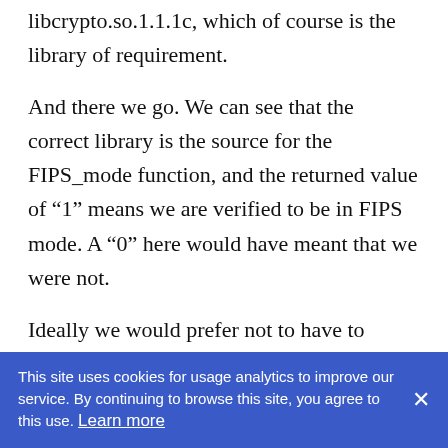libcrypto.so.1.1.1c, which of course is the library of requirement.
And there we go. We can see that the correct library is the source for the FIPS_mode function, and the returned value of “1” means we are verified to be in FIPS mode. A “0” here would have meant that we were not.
Ideally we would prefer not to have to resort
This site uses cookies for usage analytics to improve our service. By continuing to browse this site, you agree to this use. Learn more